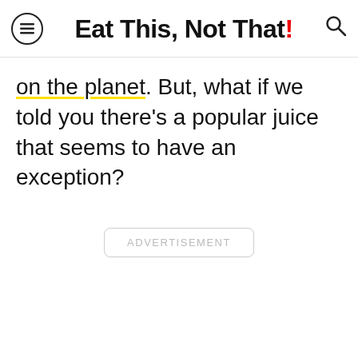Eat This, Not That!
on the planet. But, what if we told you there's a popular juice that seems to have an exception?
ADVERTISEMENT